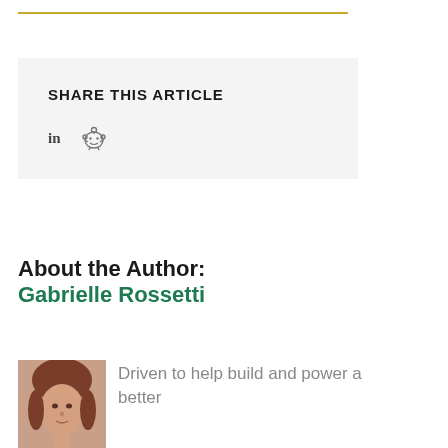SHARE THIS ARTICLE
[Figure (other): Share icons: LinkedIn 'in' text icon and Reddit alien icon]
About the Author:
Gabrielle Rossetti
[Figure (photo): Headshot photo of Gabrielle Rossetti]
Driven to help build and power a better